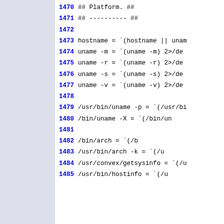1470 ## Platform. ##
1471 ## ---------- ##
1472
1473 hostname = `(hostname || unam...
1474 uname -m = `(uname -m) 2>/dev...
1475 uname -r = `(uname -r) 2>/dev...
1476 uname -s = `(uname -s) 2>/dev...
1477 uname -v = `(uname -v) 2>/dev...
1478
1479 /usr/bin/uname -p = `(/usr/bi...
1480 /bin/uname -X      = `(/bin/un...
1481
1482 /bin/arch              = `(/b...
1483 /usr/bin/arch -k       = `(/u...
1484 /usr/convex/getsysinfo = `(/u...
1485 /usr/bin/hostinfo      = `(/u...